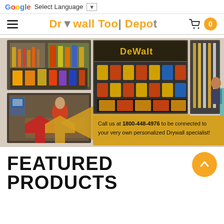G Select Language ▼
Drywall Tool Depot
[Figure (photo): Banner image showing a drywall tool store with multiple photos of store shelves, tools, DeWalt products, and a store employee. Features arrows and text: 'Call us at 1800-448-4976 to be connected to your very own personalized Drywall specialist!']
FEATURED PRODUCTS